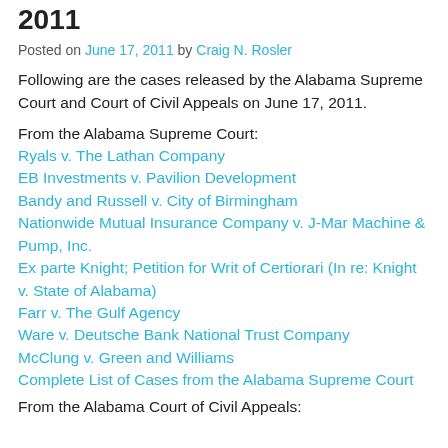2011
Posted on June 17, 2011 by Craig N. Rosler
Following are the cases released by the Alabama Supreme Court and Court of Civil Appeals on June 17, 2011.
From the Alabama Supreme Court:
Ryals v. The Lathan Company
EB Investments v. Pavilion Development
Bandy and Russell v. City of Birmingham
Nationwide Mutual Insurance Company v. J-Mar Machine & Pump, Inc.
Ex parte Knight; Petition for Writ of Certiorari (In re: Knight v. State of Alabama)
Farr v. The Gulf Agency
Ware v. Deutsche Bank National Trust Company
McClung v. Green and Williams
Complete List of Cases from the Alabama Supreme Court
From the Alabama Court of Civil Appeals: